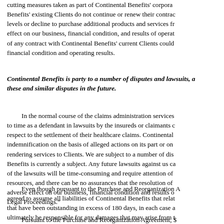cutting measures taken as part of Continental Benefits' corporate Benefits' existing Clients do not continue or renew their contracts levels or decline to purchase additional products and services from effect on our business, financial condition, and results of operations of any contract with Continental Benefits' current Clients could financial condition and operating results.
Continental Benefits is party to a number of disputes and lawsuits, and these and similar disputes in the future.
In the normal course of the claims administration services to time as a defendant in lawsuits by the insureds or claimants with respect to the settlement of their healthcare claims. Continental indemnification on the basis of alleged actions on its part or on rendering services to Clients. We are subject to a number of dis Benefits is currently a subject. Any future lawsuits against us can of the lawsuits will be time-consuming and require attention of resources, and there can be no assurances that the resolution of adverse effect on our business, financial condition and results of Legal Proceedings.”
Even though pursuant to the Purchase and Reorganization Agreement agreed to assume all liabilities of Continental Benefits that relate that have been outstanding in excess of 180 days, in each case ultimately be responsible for any damages that may arise from WellEnterprises USA, LLC is unable or unwilling to satisfy any so. One of our directors, Mr. Damien Lamendola is the majority Corporation, which owns HillCour.
Pursuant to the Purchase and Reorganization Agreement, $